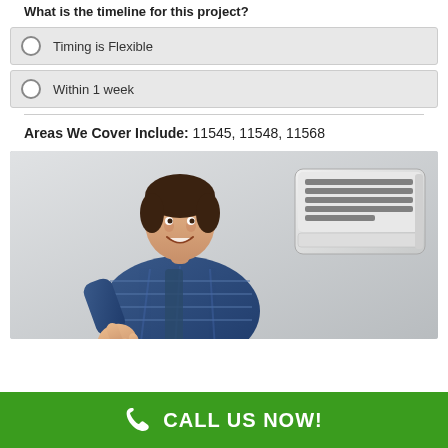What is the timeline for this project?
Timing is Flexible
Within 1 week
Areas We Cover Include: 11545, 11548, 11568
[Figure (photo): HVAC technician in blue plaid shirt giving thumbs up next to a wall-mounted mini-split air conditioner unit]
CALL US NOW!